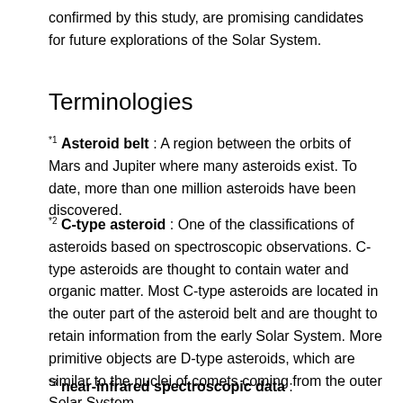confirmed by this study, are promising candidates for future explorations of the Solar System.
Terminologies
*1 Asteroid belt : A region between the orbits of Mars and Jupiter where many asteroids exist. To date, more than one million asteroids have been discovered.
*2 C-type asteroid : One of the classifications of asteroids based on spectroscopic observations. C-type asteroids are thought to contain water and organic matter. Most C-type asteroids are located in the outer part of the asteroid belt and are thought to retain information from the early Solar System. More primitive objects are D-type asteroids, which are similar to the nuclei of comets coming from the outer Solar System.
*3 near-infrared spectroscopic data : Spectroscopic observation is a technique to study the composition of the